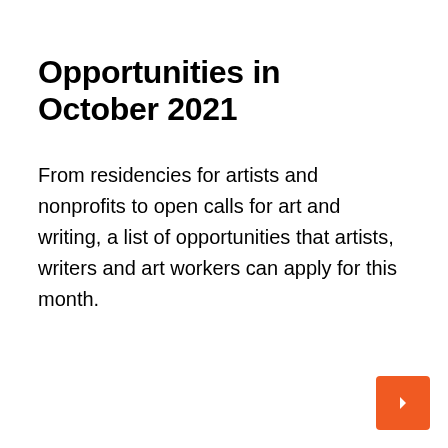Opportunities in October 2021
From residencies for artists and nonprofits to open calls for art and writing, a list of opportunities that artists, writers and art workers can apply for this month.